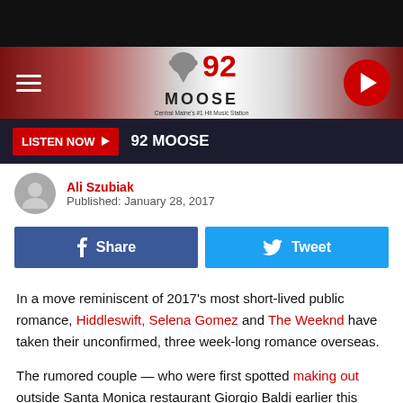92 MOOSE Radio Station
LISTEN NOW  92 MOOSE
Ali Szubiak
Published: January 28, 2017
Share  Tweet
In a move reminiscent of 2017’s most short-lived public romance, Hiddleswift, Selena Gomez and The Weeknd have taken their unconfirmed, three week-long romance overseas.
The rumored couple — who were first spotted making out outside Santa Monica restaurant Giorgio Baldi earlier this month (January 10) — spent some time together in Florence,